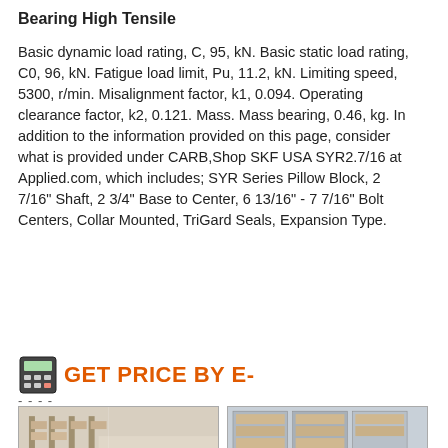Bearing High Tensile
Basic dynamic load rating, C, 95, kN. Basic static load rating, C0, 96, kN. Fatigue load limit, Pu, 11.2, kN. Limiting speed, 5300, r/min. Misalignment factor, k1, 0.094. Operating clearance factor, k2, 0.121. Mass. Mass bearing, 0.46, kg. In addition to the information provided on this page, consider what is provided under CARB,Shop SKF USA SYR2.7/16 at Applied.com, which includes; SYR Series Pillow Block, 2 7/16" Shaft, 2 3/4" Base to Center, 6 13/16" - 7 7/16" Bolt Centers, Collar Mounted, TriGard Seals, Expansion Type.
GET PRICE BY E-MAIL
[Figure (photo): Two warehouse interior photos showing shelves with boxes and industrial storage]